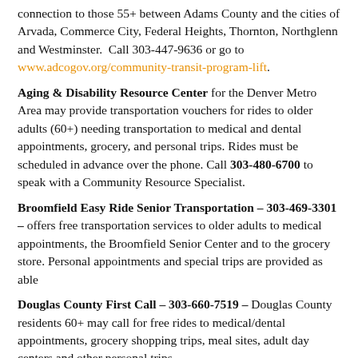connection to those 55+ between Adams County and the cities of Arvada, Commerce City, Federal Heights, Thornton, Northglenn and Westminster. Call 303-447-9636 or go to www.adcogov.org/community-transit-program-lift.
Aging & Disability Resource Center for the Denver Metro Area may provide transportation vouchers for rides to older adults (60+) needing transportation to medical and dental appointments, grocery, and personal trips. Rides must be scheduled in advance over the phone. Call 303-480-6700 to speak with a Community Resource Specialist.
Broomfield Easy Ride Senior Transportation – 303-469-3301 – offers free transportation services to older adults to medical appointments, the Broomfield Senior Center and to the grocery store. Personal appointments and special trips are provided as able
Douglas County First Call – 303-660-7519 – Douglas County residents 60+ may call for free rides to medical/dental appointments, grocery shopping trips, meal sites, adult day centers and other personal trips.
Via offers free rides to medical appointments and meal